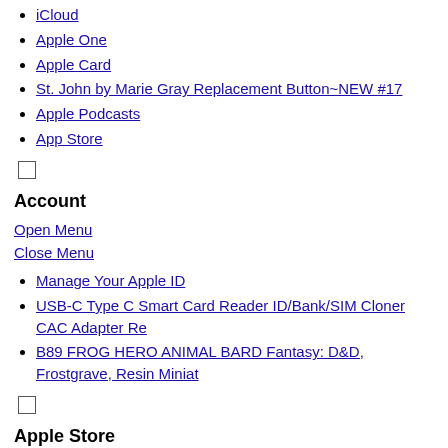iCloud
Apple One
Apple Card
St. John by Marie Gray Replacement Button~NEW #17
Apple Podcasts
App Store
Account
Open Menu
Close Menu
Manage Your Apple ID
USB-C Type C Smart Card Reader ID/Bank/SIM Cloner CAC Adapter Re
B89 FROG HERO ANIMAL BARD Fantasy: D&D, Frostgrave, Resin Miniat
Apple Store